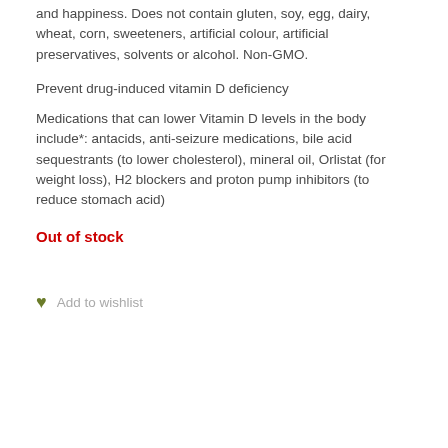and happiness. Does not contain gluten, soy, egg, dairy, wheat, corn, sweeteners, artificial colour, artificial preservatives, solvents or alcohol. Non-GMO.
Prevent drug-induced vitamin D deficiency
Medications that can lower Vitamin D levels in the body include*: antacids, anti-seizure medications, bile acid sequestrants (to lower cholesterol), mineral oil, Orlistat (for weight loss), H2 blockers and proton pump inhibitors (to reduce stomach acid)
Out of stock
Add to wishlist